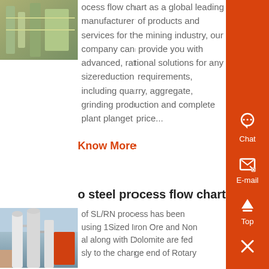[Figure (photo): Industrial/mining equipment photo (partially visible at top left)]
ocess flow chart as a global leading manufacturer of products and services for the mining industry, our company can provide you with advanced, rational solutions for any sizereduction requirements, including quarry, aggregate, grinding production and complete plant planget price...
Know More
[Figure (photo): Industrial steel plant with large cylindrical towers and pipes]
o steel process flow chart
of SL/RN process has been using 1Sized Iron Ore and Non al along with Dolomite are fed sly to the charge end of Rotary Kiln Inclined at 25 Coal is also injected through an Injection Pipe at the discharge
[Figure (illustration): Sidebar with Chat icon and label]
[Figure (illustration): Sidebar with E-mail icon and label]
[Figure (illustration): Sidebar with Top arrow and X close button]